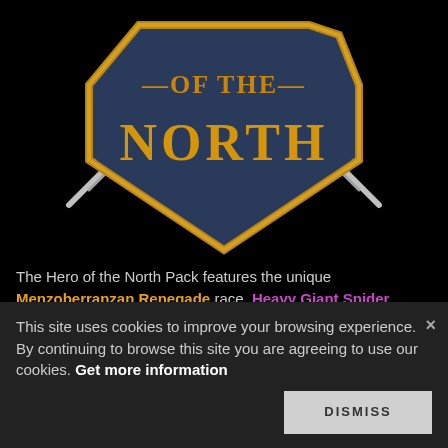[Figure (logo): Hero of the North Pack shield logo with golden text '—OF THE NORTH—' on a dark blue shield with crossed swords]
The Hero of the North Pack features the unique Menzoberranzan Renegade race, Heavy Giant Spider Mount, the Panther Companion and much more! Click on the Logo to learn more about the pack.
Guardian of Neverwinter
[Figure (photo): Broken/missing image placeholder]
Ride in style with the Adventurer's Horse Mount, add the Vicious Dire Wolf to your companion collection and pick up
This site uses cookies to improve your browsing experience. By continuing to browse this site you are agreeing to use our cookies. Get more information
DISMISS